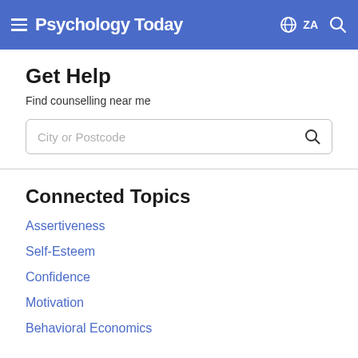Psychology Today  ZA
Get Help
Find counselling near me
City or Postcode
Connected Topics
Assertiveness
Self-Esteem
Confidence
Motivation
Behavioral Economics